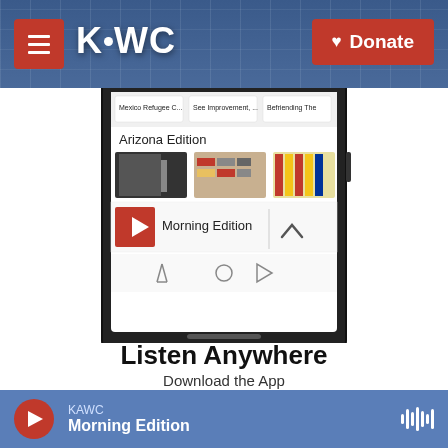KAWC | Donate
[Figure (screenshot): KAWC radio app screenshot on a smartphone showing Morning Edition player with Arizona Edition section, news headlines: Mexico Refugee C..., See Improvement,..., Befriending The]
Listen Anywhere
Download the App
Find It Now
KAWC Morning Edition